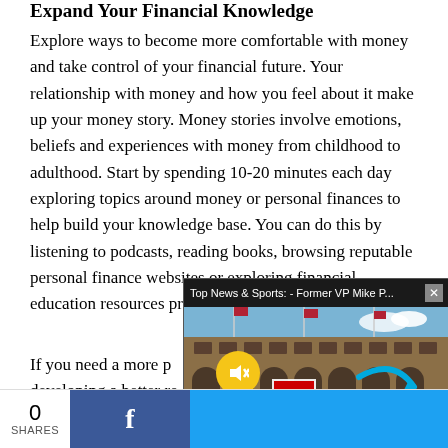Expand Your Financial Knowledge
Explore ways to become more comfortable with money and take control of your financial future. Your relationship with money and how you feel about it make up your money story. Money stories involve emotions, beliefs and experiences with money from childhood to adulthood. Start by spending 10-20 minutes each day exploring topics around money or personal finances to help build your knowledge base. You can do this by listening to podcasts, reading books, browsing reputable personal finance websites or exploring financial education resources provided by your financial institu...
If you need a more p... developing a better re... explore working with...
[Figure (screenshot): Video ad overlay showing a brick arena/stadium building with flags, titled 'Top News & Sports: - Former VP Mike P...' with a mute button and close button]
0 SHARES  [Facebook share button] [Twitter share button]